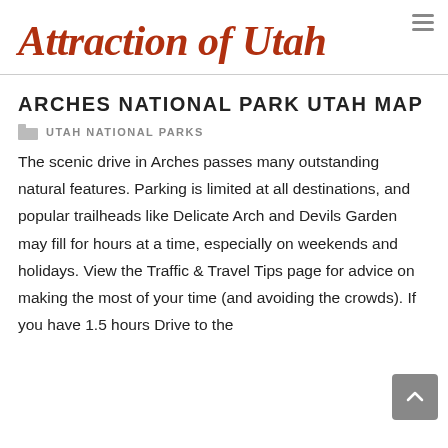Attraction of Utah
ARCHES NATIONAL PARK UTAH MAP
UTAH NATIONAL PARKS
The scenic drive in Arches passes many outstanding natural features. Parking is limited at all destinations, and popular trailheads like Delicate Arch and Devils Garden may fill for hours at a time, especially on weekends and holidays. View the Traffic & Travel Tips page for advice on making the most of your time (and avoiding the crowds). If you have 1.5 hours Drive to the